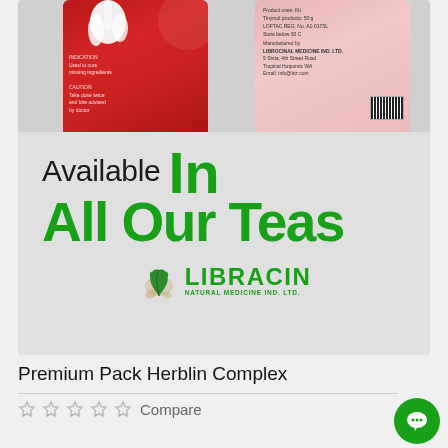[Figure (photo): Product packaging for Libracin Natural Medicine – red and pink packages of Herblin Complex tea, with text 'Available In All Our Teas' and the Libracin Natural Medicine Ind. Ltd. logo]
Premium Pack Herblin Complex
Compare